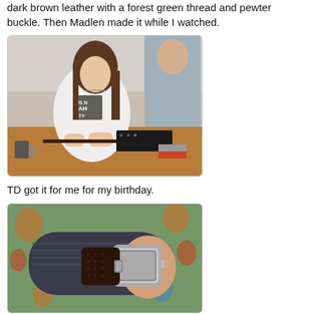dark brown leather with a forest green thread and pewter buckle. Then Madlen made it while I watched.
[Figure (photo): A young woman with long brown hair wearing a white t-shirt is making a leather bracelet at a wooden workbench. Various crafting tools and materials are spread on the table. Another person in a grey shirt is visible in the background.]
TD got it for me for my birthday.
[Figure (photo): A close-up of a wrist wearing a dark brown leather bracelet with a pewter buckle, alongside a silver watch. The background is a colorful patterned fabric.]